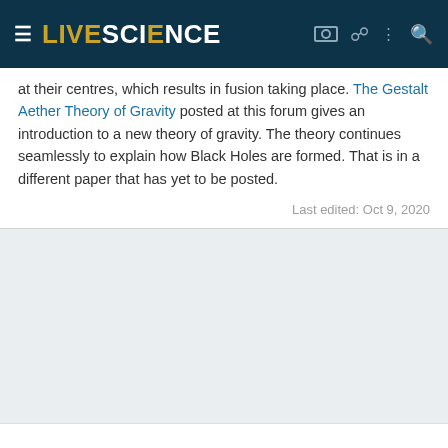LIVESCIENCE
at their centres, which results in fusion taking place. The Gestalt Aether Theory of Gravity posted at this forum gives an introduction to a new theory of gravity. The theory continues seamlessly to explain how Black Holes are formed. That is in a different paper that has yet to be posted.
Last edited: Oct 9, 2020